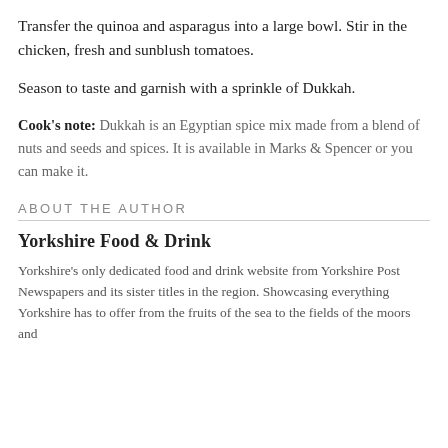Transfer the quinoa and asparagus into a large bowl. Stir in the chicken, fresh and sunblush tomatoes.
Season to taste and garnish with a sprinkle of Dukkah.
Cook's note: Dukkah is an Egyptian spice mix made from a blend of nuts and seeds and spices. It is available in Marks & Spencer or you can make it.
ABOUT THE AUTHOR
Yorkshire Food & Drink
Yorkshire's only dedicated food and drink website from Yorkshire Post Newspapers and its sister titles in the region. Showcasing everything Yorkshire has to offer from the fruits of the sea to the fields of the moors and